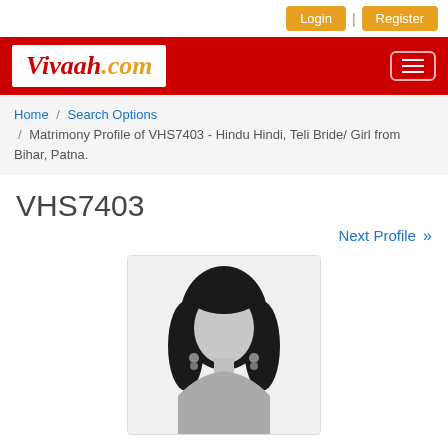Login | Register
[Figure (logo): Vivaah.com logo on red header bar with hamburger menu icon]
Home / Search Options / Matrimony Profile of VHS7403 - Hindu Hindi, Teli Bride/ Girl from Bihar, Patna.
VHS7403
Next Profile »
[Figure (photo): Placeholder silhouette image of a female profile with dark hair and earrings, wearing a gray top]